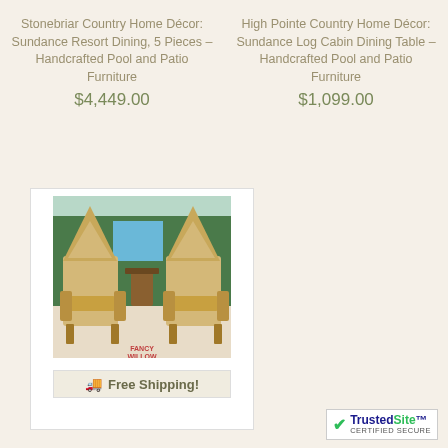Stonebriar Country Home Décor: Sundance Resort Dining, 5 Pieces – Handcrafted Pool and Patio Furniture
$4,449.00
High Pointe Country Home Décor: Sundance Log Cabin Dining Table – Handcrafted Pool and Patio Furniture
$1,099.00
[Figure (photo): Two handcrafted willow rocking chairs (Fancy Willow brand) with tree-shaped high backs, placed outdoors near a pool with green hedge background. A small side table is visible between the chairs.]
Free Shipping!
[Figure (logo): TrustedSite Certified Secure badge with green checkmark]